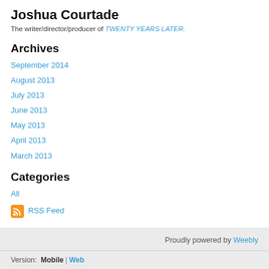Joshua Courtade
The writer/director/producer of TWENTY YEARS LATER.
Archives
September 2014
August 2013
July 2013
June 2013
May 2013
April 2013
March 2013
Categories
All
RSS Feed
Proudly powered by Weebly
Version: Mobile | Web